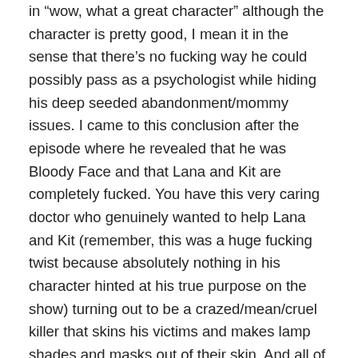in "wow, what a great character" although the character is pretty good, I mean it in the sense that there's no fucking way he could possibly pass as a psychologist while hiding his deep seeded abandonment/mommy issues. I came to this conclusion after the episode where he revealed that he was Bloody Face and that Lana and Kit are completely fucked. You have this very caring doctor who genuinely wanted to help Lana and Kit (remember, this was a huge fucking twist because absolutely nothing in his character hinted at his true purpose on the show) turning out to be a crazed/mean/cruel killer that skins his victims and makes lamp shades and masks out of their skin. And all of this because he was abandoned by his mother? No. I'm not buying that shit. Either the writers need to go in to his back story a LOT more -which I'm sure they will, this show loves going in to a characters past- or they expect the audience to just sit down and take it: "Oh, it turns out he was the